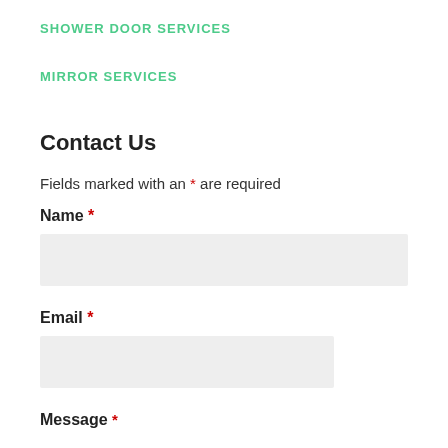SHOWER DOOR SERVICES
MIRROR SERVICES
Contact Us
Fields marked with an * are required
Name *
Email *
Message *